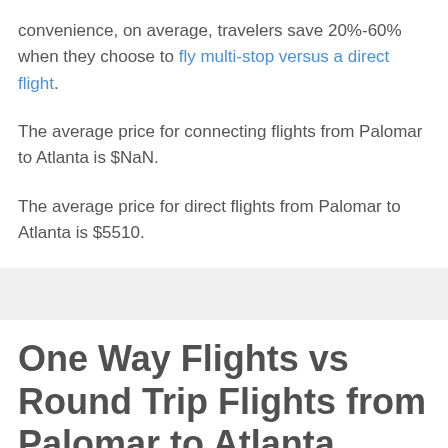convenience, on average, travelers save 20%-60% when they choose to fly multi-stop versus a direct flight.
The average price for connecting flights from Palomar to Atlanta is $NaN.
The average price for direct flights from Palomar to Atlanta is $5510.
One Way Flights vs Round Trip Flights from Palomar to Atlanta